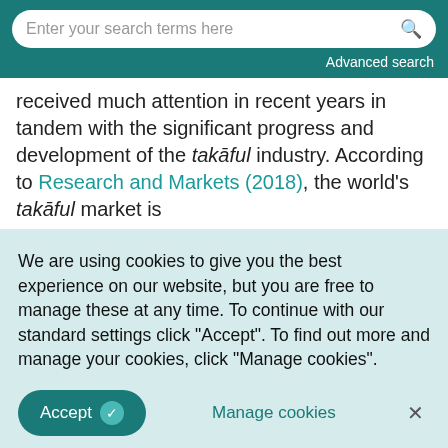[Figure (screenshot): Teal search bar UI with placeholder text 'Enter your search terms here' and a search icon, with 'Advanced search' link below]
received much attention in recent years in tandem with the significant progress and development of the takāful industry. According to Research and Markets (2018), the world's takāful market is
We are using cookies to give you the best experience on our website, but you are free to manage these at any time. To continue with our standard settings click "Accept". To find out more and manage your cookies, click "Manage cookies".
Accept [checkmark] | Manage cookies | ×
dominating the takāful market in the Gulf Cooperation Council, while Malaysia is dominating